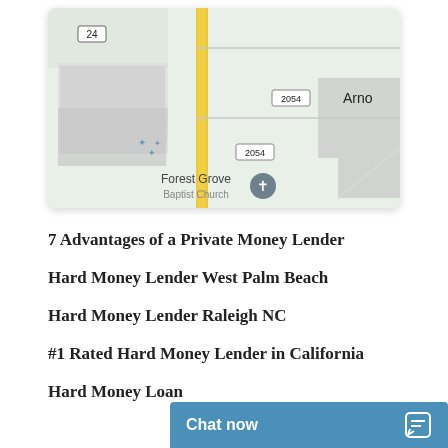[Figure (map): Google Maps style map showing road 24, route 2054 (shown twice), Arno label, Forest Grove Baptist Church label with cross icon, yellow vertical road, green and white areas representing land parcels.]
7 Advantages of a Private Money Lender
Hard Money Lender West Palm Beach
Hard Money Lender Raleigh NC
#1 Rated Hard Money Lender in California
Hard Money Loan
Chat now